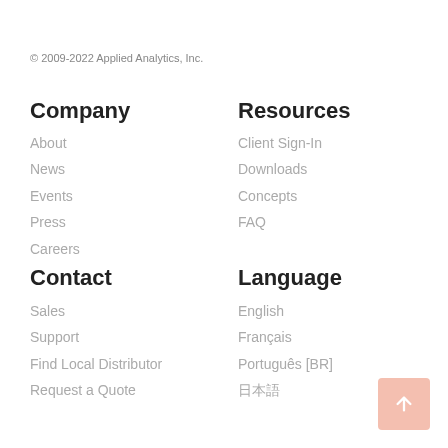© 2009-2022 Applied Analytics, Inc.
Company
About
News
Events
Press
Careers
Resources
Client Sign-In
Downloads
Concepts
FAQ
Contact
Sales
Support
Find Local Distributor
Request a Quote
Language
English
Français
Português [BR]
日本語